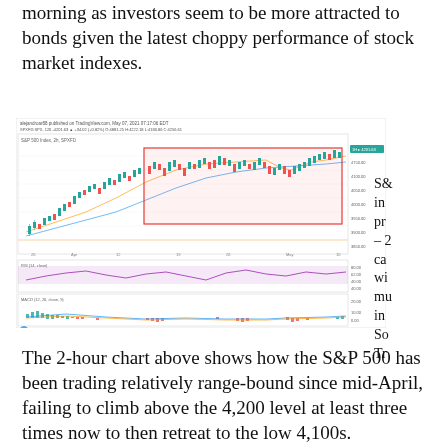morning as investors seem to be more attracted to bonds given the latest choppy performance of stock market indexes.
[Figure (screenshot): TradingView 2-hour candlestick chart of S&P 500 index (SPXFD:SPX) with RSI and MACD indicators, showing range-bound trading since mid-April with a highlighted rectangle around the 4100-4200 range. Chart includes price around 4201.63, red/green candlesticks, moving averages, RSI panel showing values between 40-80, and MACD panel with histogram bars.]
The 2-hour chart above shows how the S&P 500 has been trading relatively range-bound since mid-April, failing to climb above the 4,200 level at least three times now to then retreat to the low 4,100s.